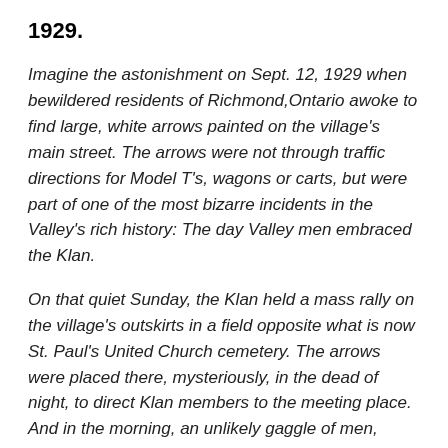1929.
Imagine the astonishment on Sept. 12, 1929 when bewildered residents of Richmond,Ontario awoke to find large, white arrows painted on the village's main street. The arrows were not through traffic directions for Model T's, wagons or carts, but were part of one of the most bizarre incidents in the Valley's rich history: The day Valley men embraced the Klan.
On that quiet Sunday, the Klan held a mass rally on the village's outskirts in a field opposite what is now St. Paul's United Church cemetery. The arrows were placed there, mysteriously, in the dead of night, to direct Klan members to the meeting place. And in the morning, an unlikely gaggle of men, many all gussied up in white sheets and hoods trundled through town on white horses clattering